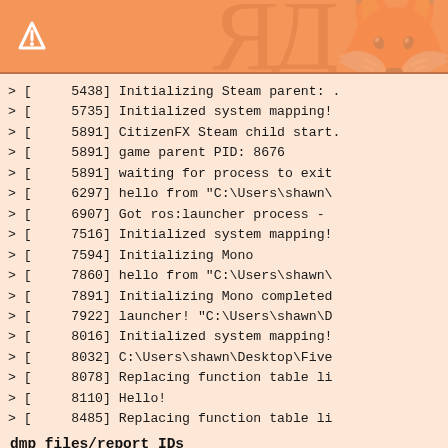> [     5438] Initializing Steam parent: .
> [     5735] Initialized system mapping!
> [     5891] CitizenFX Steam child start.
> [     5891] game parent PID: 8676
> [     5891] waiting for process to exit
> [     6297] hello from "C:\Users\shawn\
> [     6907] Got ros:launcher process - 
> [     7516] Initialized system mapping!
> [     7594] Initializing Mono
> [     7860] hello from "C:\Users\shawn\
> [     7891] Initializing Mono completed
> [     7922] launcher! "C:\Users\shawn\D
> [     8016] Initialized system mapping!
> [     8032] C:\Users\shawn\Desktop\Five
> [     8078] Replacing function table li
> [     8110] Hello!
> [     8485] Replacing function table li
dmp files/report IDs